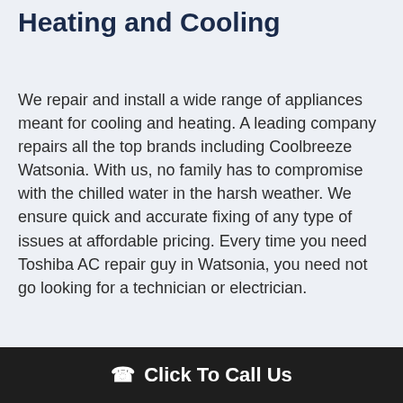Heating and Cooling
We repair and install a wide range of appliances meant for cooling and heating. A leading company repairs all the top brands including Coolbreeze Watsonia. With us, no family has to compromise with the chilled water in the harsh weather. We ensure quick and accurate fixing of any type of issues at affordable pricing. Every time you need Toshiba AC repair guy in Watsonia, you need not go looking for a technician or electrician.
Click To Call Us